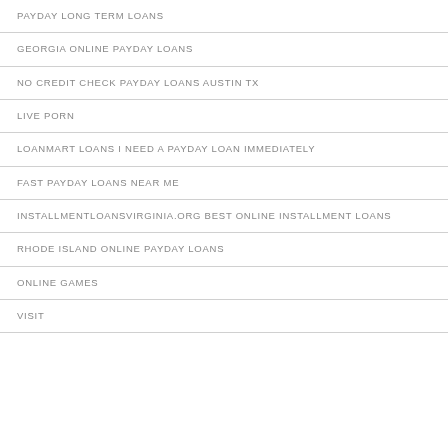PAYDAY LONG TERM LOANS
GEORGIA ONLINE PAYDAY LOANS
NO CREDIT CHECK PAYDAY LOANS AUSTIN TX
LIVE PORN
LOANMART LOANS I NEED A PAYDAY LOAN IMMEDIATELY
FAST PAYDAY LOANS NEAR ME
INSTALLMENTLOANSVIRGINIA.ORG BEST ONLINE INSTALLMENT LOANS
RHODE ISLAND ONLINE PAYDAY LOANS
ONLINE GAMES
VISIT